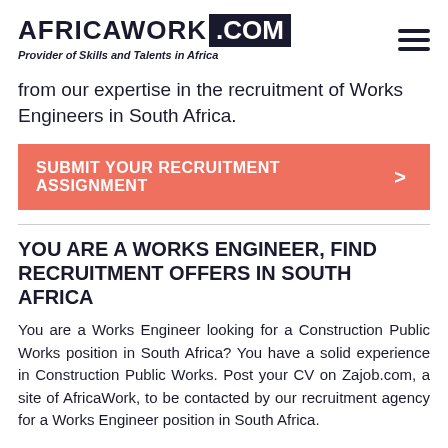AFRICAWORK .COM — Provider of Skills and Talents in Africa
from our expertise in the recruitment of Works Engineers in South Africa.
SUBMIT YOUR RECRUITMENT ASSIGNMENT >
YOU ARE A WORKS ENGINEER, FIND RECRUITMENT OFFERS IN SOUTH AFRICA
You are a Works Engineer looking for a Construction Public Works position in South Africa? You have a solid experience in Construction Public Works. Post your CV on Zajob.com, a site of AfricaWork, to be contacted by our recruitment agency for a Works Engineer position in South Africa.